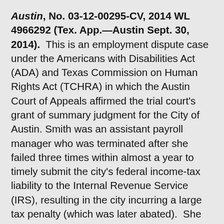Austin, No. 03-12-00295-CV, 2014 WL 4966292 (Tex. App.—Austin Sept. 30, 2014). This is an employment dispute case under the Americans with Disabilities Act (ADA) and Texas Commission on Human Rights Act (TCHRA) in which the Austin Court of Appeals affirmed the trial court's grant of summary judgment for the City of Austin. Smith was an assistant payroll manager who was terminated after she failed three times within almost a year to timely submit the city's federal income-tax liability to the Internal Revenue Service (IRS), resulting in the city incurring a large tax penalty (which was later abated). She claims she suffered from a disability, major depression and anxiety disorder which instantaneously limits her concentration and, as a result of the city failing to make a reasonable accommodation, the